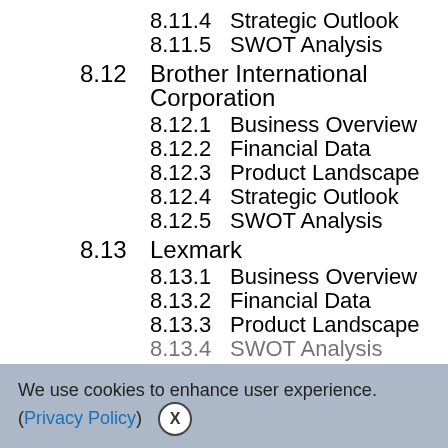8.11.4    Strategic Outlook
8.11.5    SWOT Analysis
8.12    Brother International Corporation
8.12.1    Business Overview
8.12.2    Financial Data
8.12.3    Product Landscape
8.12.4    Strategic Outlook
8.12.5    SWOT Analysis
8.13    Lexmark
8.13.1    Business Overview
8.13.2    Financial Data
8.13.3    Product Landscape
8.13.4    SWOT Analysis
We use cookies to enhance user experience. (Privacy Policy)  X